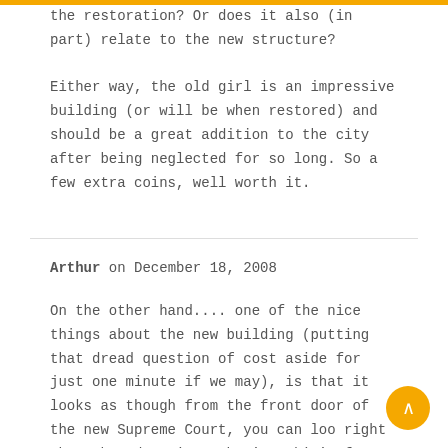the restoration? Or does it also (in part) relate to the new structure?
Either way, the old girl is an impressive building (or will be when restored) and should be a great addition to the city after being neglected for so long. So a few extra coins, well worth it.
Arthur on December 18, 2008
On the other hand.... one of the nice things about the new building (putting that dread question of cost aside for just one minute if we may), is that it looks as though from the front door of the new Supreme Court, you can look right through and up into the 'pumpkin' of